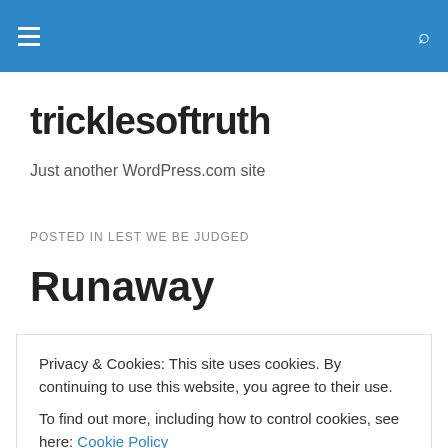tricklesoftruth — navigation header bar
tricklesoftruth
Just another WordPress.com site
POSTED IN LEST WE BE JUDGED
Runaway
Runaway
Privacy & Cookies: This site uses cookies. By continuing to use this website, you agree to their use.
To find out more, including how to control cookies, see here: Cookie Policy